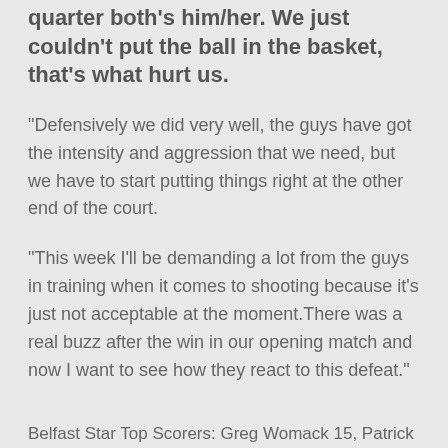quarter both's him/her. We just couldn't put the ball in the basket, that's what hurt us.
"Defensively we did very well, the guys have got the intensity and aggression that we need, but we have to start putting things right at the other end of the court.
"This week I'll be demanding a lot from the guys in training when it comes to shooting because it's just not acceptable at the moment.There was a real buzz after the win in our opening match and now I want to see how they react to this defeat."
Belfast Star Top Scorers: Greg Womack 15, Patrick Mullan 10, Conor McElroy 6. Tops for Tralee were: Dusan Bogdanovic 22, Ryan Leonard 16, Darragh O'Hanlon 6.
In other games:
...